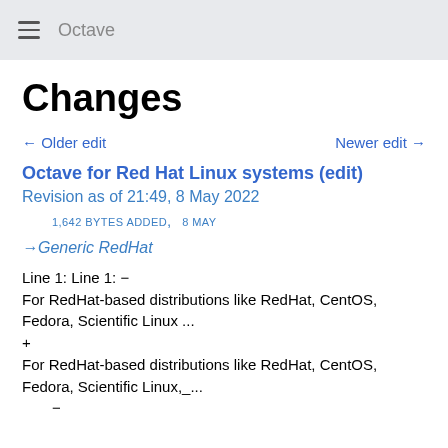Octave
Changes
← Older edit    Newer edit →
Octave for Red Hat Linux systems (edit)
Revision as of 21:49, 8 May 2022
1,642 BYTES ADDED ,   8 MAY
→ Generic RedHat
Line 1: Line 1: −
For RedHat-based distributions like RedHat, CentOS, Fedora, Scientific Linux ...
+
For RedHat-based distributions like RedHat, CentOS, Fedora, Scientific Linux,_...
   −